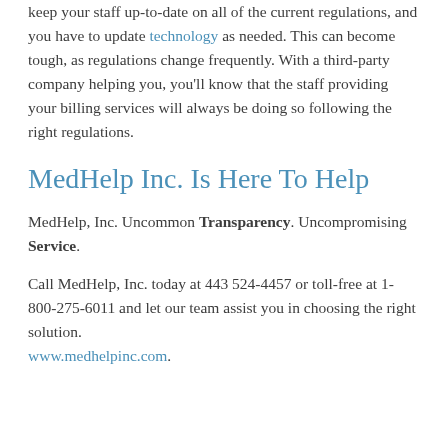keep your staff up-to-date on all of the current regulations, and you have to update technology as needed. This can become tough, as regulations change frequently. With a third-party company helping you, you'll know that the staff providing your billing services will always be doing so following the right regulations.
MedHelp Inc. Is Here To Help
MedHelp, Inc. Uncommon Transparency. Uncompromising Service.
Call MedHelp, Inc. today at 443 524-4457 or toll-free at 1-800-275-6011 and let our team assist you in choosing the right solution. www.medhelpinc.com.